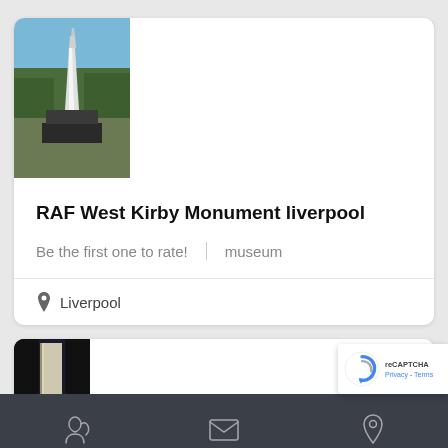[Figure (photo): Photo of a white stone monument or obelisk outdoors against a blue sky with trees in the background]
RAF West Kirby Monument liverpool
Be the first one to rate!    museum
Liverpool
[Figure (photo): Partial photo showing a lit interior space, partially cut off]
[Figure (other): reCAPTCHA badge with Privacy and Terms links]